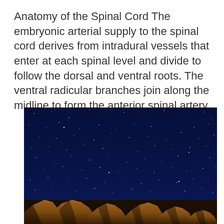Anatomy of the Spinal Cord The embryonic arterial supply to the spinal cord derives from intradural vessels that enter at each spinal level and divide to follow the dorsal and ventral roots. The ventral radicular branches join along the midline to form the anterior spinal artery.
[Figure (photo): Night sky photograph showing a deep dark blue starry sky with rocky mountain formations illuminated in golden/brown tones at the bottom of the image.]